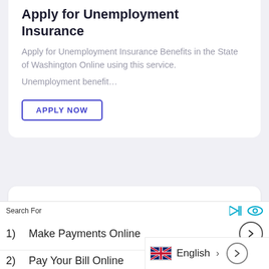Apply for Unemployment Insurance
Apply for Unemployment Insurance Benefits in the State of Washington Online using this service.
Unemployment benefit…
APPLY NOW
Corona COVID-19 Response
The World Health Organization has declared the coronavirus outbreak (COVID-19) a pandemic. COVID-19 is the infectious disease …
Search For
1)   Make Payments Online
2)   Pay Your Bill Online